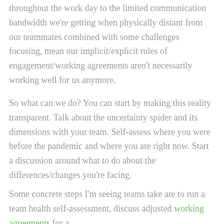throughout the work day to the limited communication bandwidth we're getting when physically distant from our teammates combined with some challenges focusing, mean our implicit/explicit rules of engagement/working agreements aren't necessarily working well for us anymore.
So what can we do? You can start by making this reality transparent. Talk about the uncertainty spider and its dimensions with your team. Self-assess where you were before the pandemic and where you are right now. Start a discussion around what to do about the differences/changes you're facing.
Some concrete steps I'm seeing teams take are to run a team health self-assessment, discuss adjusted working agreements for a